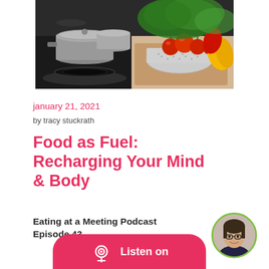[Figure (photo): Kitchen scene with stainless steel pots on a dark stovetop and a colander filled with colorful vegetables and tomatoes on a cutting board]
january 21, 2021
by tracy stuckrath
Food as Fuel: Recharging Your Mind & Body
Eating at a Meeting Podcast Episode 43
[Figure (other): Listen on button with podcast icon at bottom of page]
[Figure (photo): Circular avatar photo of a woman with glasses, framed with a green border circle]